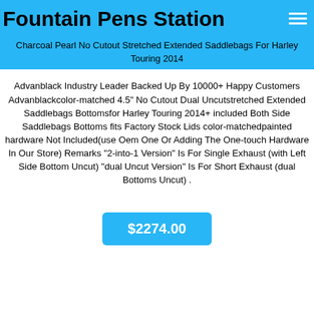Fountain Pens Station
Charcoal Pearl No Cutout Stretched Extended Saddlebags For Harley Touring 2014
Advanblack Industry Leader Backed Up By 10000+ Happy Customers Advanblackcolor-matched 4.5" No Cutout Dual Uncutstretched Extended Saddlebags Bottomsfor Harley Touring 2014+ included Both Side Saddlebags Bottoms fits Factory Stock Lids color-matchedpainted hardware Not Included(use Oem One Or Adding The One-touch Hardware In Our Store) Remarks "2-into-1 Version" Is For Single Exhaust (with Left Side Bottom Uncut) "dual Uncut Version" Is For Short Exhaust (dual Bottoms Uncut) .
$2274.00